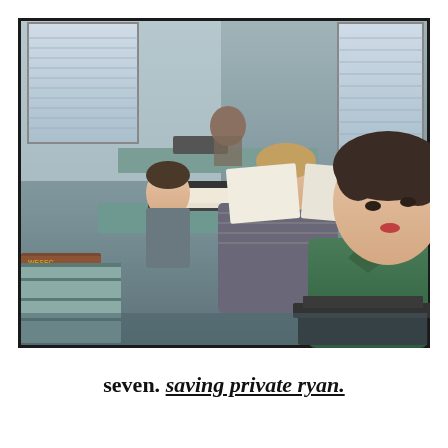[Figure (photo): A color photograph showing several women sitting at desks working at typewriters in an office setting. In the foreground, a woman in a green blouse is typing. Behind her, another woman in a striped shirt holds up sheets of paper. Further back, additional workers are visible at their desks. The office has windows with blinds letting in light.]
seven. saving private ryan.